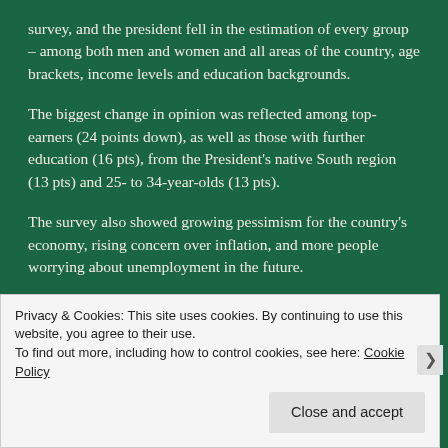survey, and the president fell in the estimation of every group – among both men and women and all areas of the country, age brackets, income levels and education backgrounds.
The biggest change in opinion was reflected among top-earners (24 points down), as well as those with further education (16 pts), from the President's native South region (13 pts) and 25- to 34-year-olds (13 pts).
The survey also showed growing pessimism for the country's economy, rising concern over inflation, and more people worrying about unemployment in the future.
However, despite the reported drop in popularity for Rousseff, whose popularity has at times even rivalled that of
Privacy & Cookies: This site uses cookies. By continuing to use this website, you agree to their use.
To find out more, including how to control cookies, see here: Cookie Policy
Close and accept